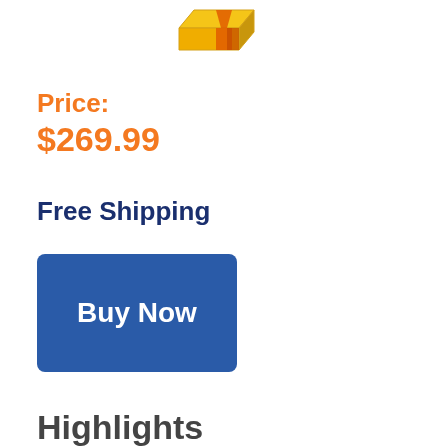[Figure (illustration): A golden/orange 3D gift box or cube emoji icon, partially visible at the top of the page]
Price:
$269.99
Free Shipping
[Figure (other): A large blue rectangular Buy Now button]
Highlights